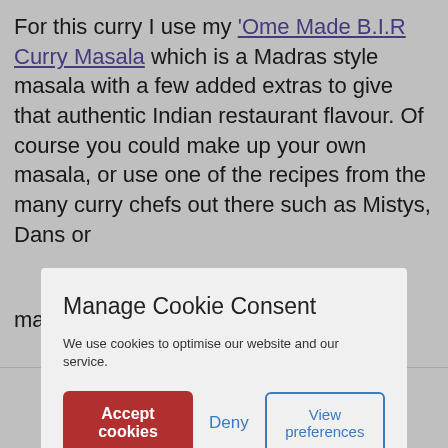For this curry I use my 'Ome Made B.I.R Curry Masala which is a Madras style masala with a few added extras to give that authentic Indian restaurant flavour. Of course you could make up your own masala, or use one of the recipes from the many curry chefs out there such as Mistys, Dans or [obscured by modal] make [obscured]
La[obscured]
We use cookies to optimise our website and our service. [Manage Cookie Consent dialog with Accept cookies, Deny, View preferences buttons]
di[obscured] ry. Du[obscured] have had a small price increase of no more than 4% Dismiss